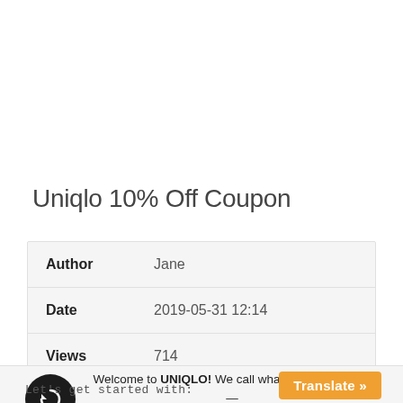Uniqlo 10% Off Coupon
| Field | Value |
| --- | --- |
| Author | Jane |
| Date | 2019-05-31 12:14 |
| Views | 714 |
Welcome to UNIQLO! We call what we do LifeWear — clothing that fits seamlessly into your life.
Let's get started with:
Translate »